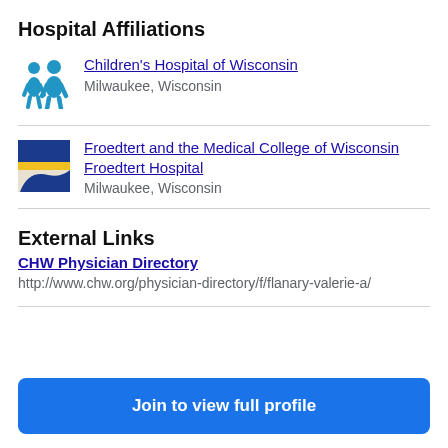Hospital Affiliations
Children's Hospital of Wisconsin
Milwaukee, Wisconsin
Froedtert and the Medical College of Wisconsin Froedtert Hospital
Milwaukee, Wisconsin
External Links
CHW Physician Directory
http://www.chw.org/physician-directory/f/flanary-valerie-a/
Join to view full profile